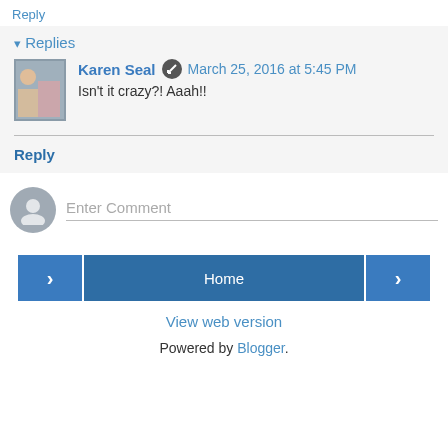Reply
▾ Replies
Karen Seal · March 25, 2016 at 5:45 PM
Isn't it crazy?! Aaah!!
Reply
Enter Comment
Home
View web version
Powered by Blogger.